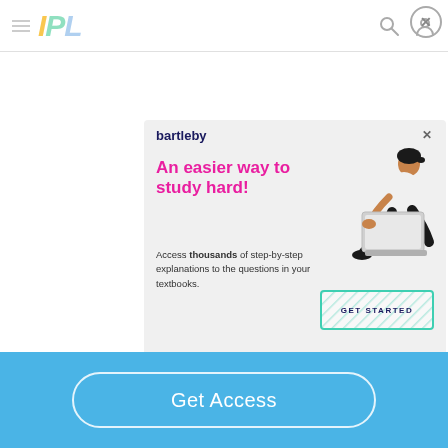[Figure (logo): IPL website navigation bar with hamburger menu, IPL logo in yellow/green/blue letters, search icon and user icon]
[Figure (screenshot): Bartleby advertisement with headline 'An easier way to study hard!', body text 'Access thousands of step-by-step explanations to the questions in your textbooks.', GET STARTED button, and illustration of person sitting with laptop]
Get Access